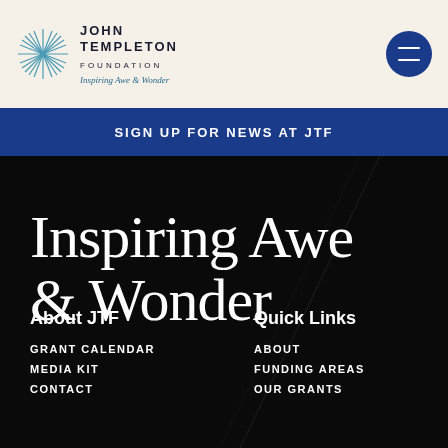[Figure (logo): John Templeton Foundation logo with starburst icon, organization name, and italic tagline 'Inspiring Awe & Wonder']
SIGN UP FOR NEWS AT JTF
Inspiring Awe & Wonder
About JTF
GRANT CALENDAR
MEDIA KIT
CONTACT
Quick Links
ABOUT
FUNDING AREAS
OUR GRANTS